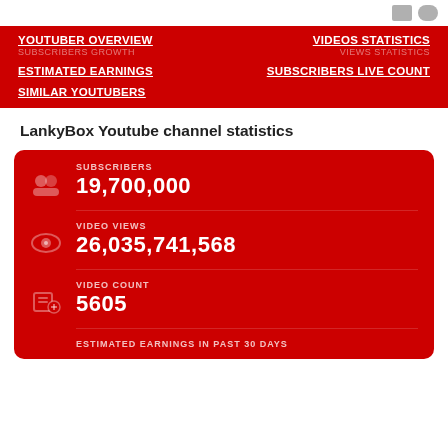YOUTUBER OVERVIEW
VIDEOS STATISTICS
ESTIMATED EARNINGS
SUBSCRIBERS LIVE COUNT
SIMILAR YOUTUBERS
LankyBox Youtube channel statistics
| Metric | Value |
| --- | --- |
| SUBSCRIBERS | 19,700,000 |
| VIDEO VIEWS | 26,035,741,568 |
| VIDEO COUNT | 5605 |
| ESTIMATED EARNINGS IN PAST 30 DAYS |  |